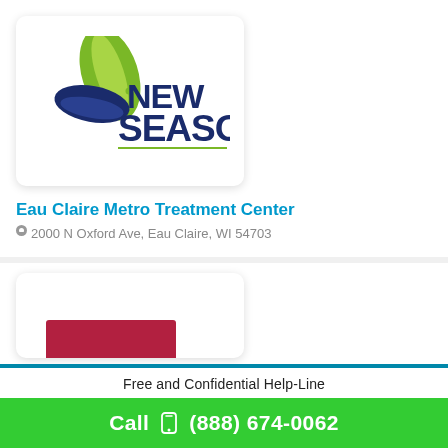[Figure (logo): New Season logo: green leaf and blue leaf with text NEW SEASON in navy blue, with a thin green underline]
Eau Claire Metro Treatment Center
2000 N Oxford Ave, Eau Claire, WI 54703
[Figure (other): Partial view of another facility card with a red/maroon bar element visible]
Free and Confidential Help-Line
Call  (888) 674-0062